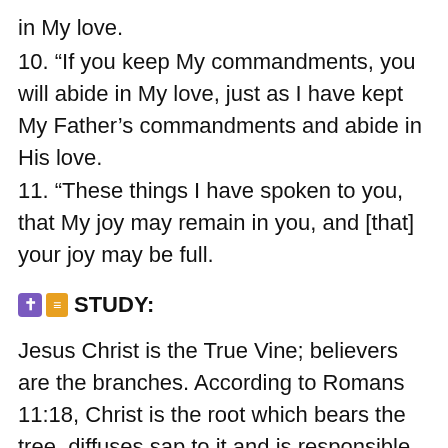in My love.
10. “If you keep My commandments, you will abide in My love, just as I have kept My Father’s commandments and abide in His love.
11. “These things I have spoken to you, that My joy may remain in you, and [that] your joy may be full.
✝ ≡ STUDY:
Jesus Christ is the True Vine; believers are the branches. According to Romans 11:18, Christ is the root which bears the tree, diffuses sap to it and is responsible for its truthfulness. Just as grapes can be produced only by remaining attached to the vine, we can only produce spiritual fruit that pleases the Father and thus be in the kingdom of God only if we remain attached to Jesus Christ. He did not only pay the penalty of our sins, but